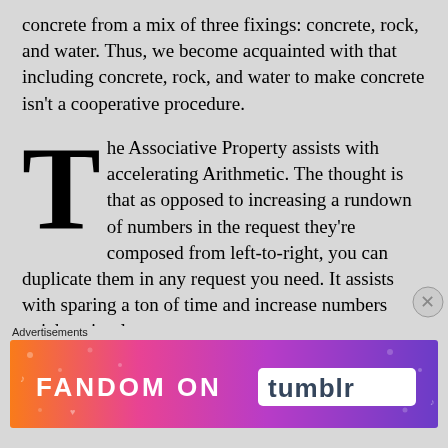concrete from a mix of three fixings: concrete, rock, and water. Thus, we become acquainted with that including concrete, rock, and water to make concrete isn't a cooperative procedure.
The Associative Property assists with accelerating Arithmetic. The thought is that as opposed to increasing a rundown of numbers in the request they're composed from left-to-right, you can duplicate them in any request you need. It assists with sparing a ton of time and increase numbers quicker simpler.
Property has an exceptionally more extensive
[Figure (infographic): Fandom on Tumblr advertisement banner with colorful gradient background (orange, pink, purple) and decorative icons]
Advertisements